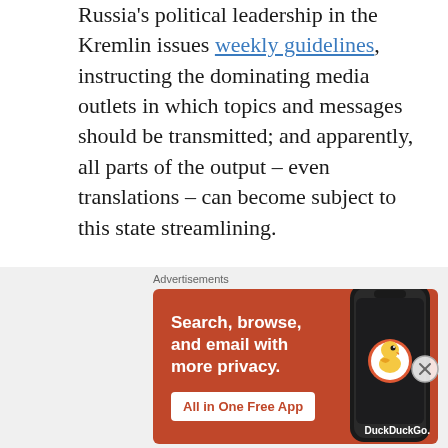Russia's political leadership in the Kremlin issues weekly guidelines, instructing the dominating media outlets in which topics and messages should be transmitted; and apparently, all parts of the output – even translations – can become subject to this state streamlining.
In 2016, the state TV channel Rossiya 24 interviewed a number of people in Paris who did not recognise their own words when France's Canal Plus confronted them with they
[Figure (other): DuckDuckGo advertisement banner: orange background with text 'Search, browse, and email with more privacy. All in One Free App' and a smartphone image with DuckDuckGo logo]